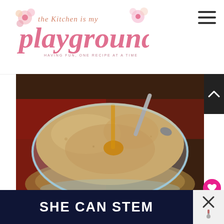[Figure (logo): The Kitchen is my Playground blog logo with decorative cupcake/flower graphics and tagline 'HAVING FUN, ONE RECIPE AT A TIME']
[Figure (photo): Close-up photo of a glass bowl filled with graham cracker crumbs with butter or honey being poured in, sitting on burlap and a red cloth on a wooden surface. A spoon is visible in the bowl.]
WHAT'S NEXT → Shrimp & Grits Casserole
SHE CAN STEM